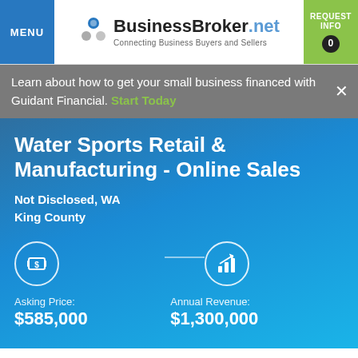MENU | BusinessBroker.net Connecting Business Buyers and Sellers | REQUEST INFO 0
Learn about how to get your small business financed with Guidant Financial. Start Today
Water Sports Retail & Manufacturing - Online Sales
Not Disclosed, WA
King County
Asking Price:
$585,000
Annual Revenue:
$1,300,000